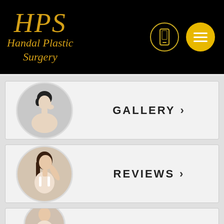[Figure (logo): HPS Handal Plastic Surgery logo in gold script on black background with phone icon and hamburger menu button]
[Figure (photo): Circular cropped photo of a woman touching her chin/neck, next to GALLERY navigation link with chevron]
[Figure (photo): Circular cropped photo of a woman in white bra posing, next to REVIEWS navigation link with chevron]
[Figure (photo): Partial circular cropped photo at bottom, partially visible, third navigation card]